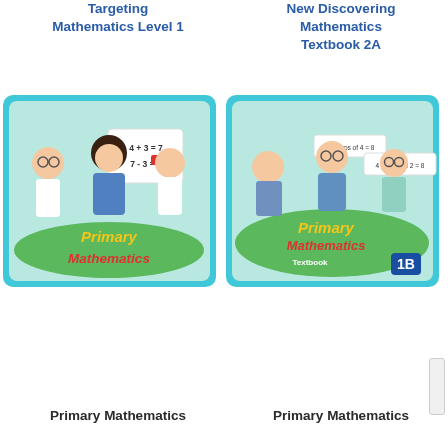Targeting Mathematics Level 1
New Discovering Mathematics Textbook 2A
[Figure (illustration): Cover of Primary Mathematics textbook showing two animated children with math equations 4+3=7 and 7-3=4, with 'Primary Mathematics' logo on green oval background, teal border]
[Figure (illustration): Cover of Primary Mathematics Textbook 1B showing animated children with math group equations '2 groups of 4=8' and '4 groups of 2=8', with 'Primary Mathematics Textbook 1B' on green oval background, teal border]
Primary Mathematics
Primary Mathematics